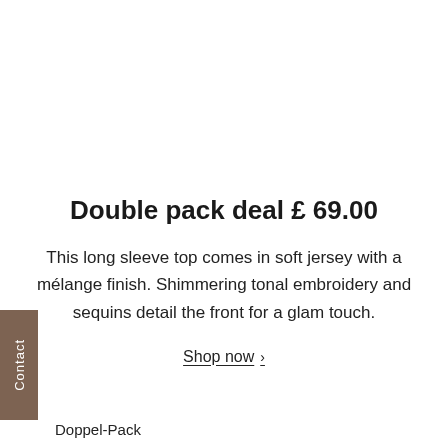Double pack deal £ 69.00
This long sleeve top comes in soft jersey with a mélange finish. Shimmering tonal embroidery and sequins detail the front for a glam touch.
Shop now >
Contact
Doppel-Pack